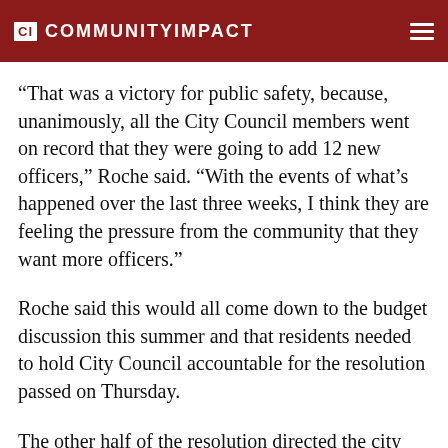CI COMMUNITYIMPACT
“That was a victory for public safety, because, unanimously, all the City Council members went on record that they were going to add 12 new officers,” Roche said. “With the events of what’s happened over the last three weeks, I think they are feeling the pressure from the community that they want more officers.”
Roche said this would all come down to the budget discussion this summer and that residents needed to hold City Council accountable for the resolution passed on Thursday.
The other half of the resolution directed the city manager to come back with a five-year staffing plan.